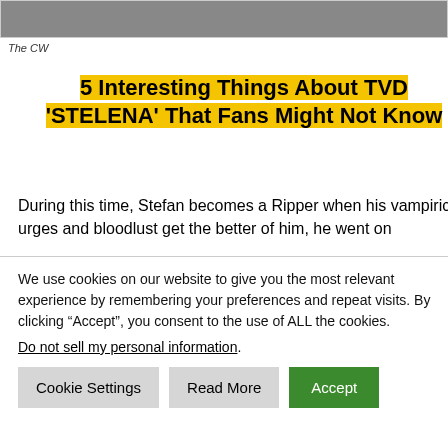[Figure (photo): Partial image at top of page, mostly grey/dark toned photo cropped at top]
The CW
5 Interesting Things About TVD 'STELENA' That Fans Might Not Know
During this time, Stefan becomes a Ripper when his vampiric urges and bloodlust get the better of him, he went on
We use cookies on our website to give you the most relevant experience by remembering your preferences and repeat visits. By clicking “Accept”, you consent to the use of ALL the cookies.
Do not sell my personal information.